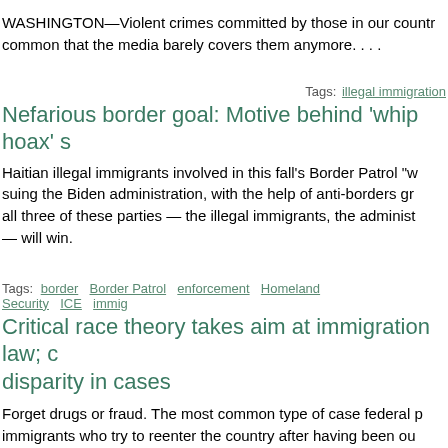WASHINGTON—Violent crimes committed by those in our country illegally have become so common that the media barely covers them anymore. . . .
Tags: illegal immigration
Nefarious border goal: Motive behind 'whip hoax' s
Haitian illegal immigrants involved in this fall's Border Patrol "w suing the Biden administration, with the help of anti-borders gr all three of these parties — the illegal immigrants, the administ — will win.
Tags: border  Border Patrol  enforcement  Homeland Security  ICE  immig
Critical race theory takes aim at immigration law; c disparity in cases
Forget drugs or fraud. The most common type of case federal p immigrants who try to reenter the country after having been ou charged are Hispanic.